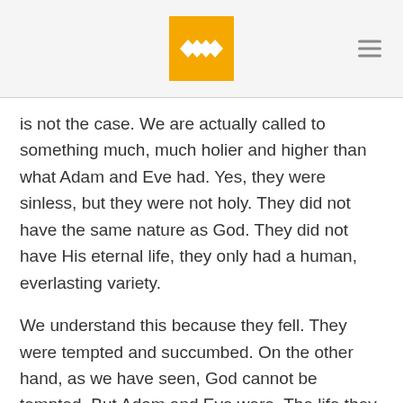[Figure (logo): Golden/amber square logo with white wheat stalk icon in the center, positioned in the header area. Hamburger menu icon (three horizontal lines) at top right.]
is not the case. We are actually called to something much, much holier and higher than what Adam and Eve had. Yes, they were sinless, but they were not holy. They did not have the same nature as God. They did not have His eternal life, they only had a human, everlasting variety.
We understand this because they fell. They were tempted and succumbed. On the other hand, as we have seen, God cannot be tempted. But Adam and Eve were. The life they had was merely innocent or sinless, but not truly holy and righteous like God. Therefore, it